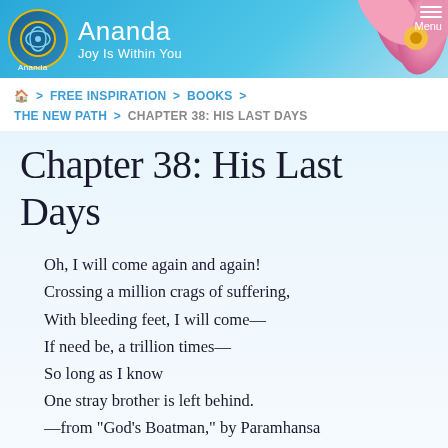Ananda — Joy Is Within You
FREE INSPIRATION > BOOKS > THE NEW PATH > CHAPTER 38: HIS LAST DAYS
Chapter 38: His Last Days
Oh, I will come again and again!
Crossing a million crags of suffering,
With bleeding feet, I will come—
If need be, a trillion times—
So long as I know
One stray brother is left behind.
—from "God's Boatman," by Paramhansa Yogananda